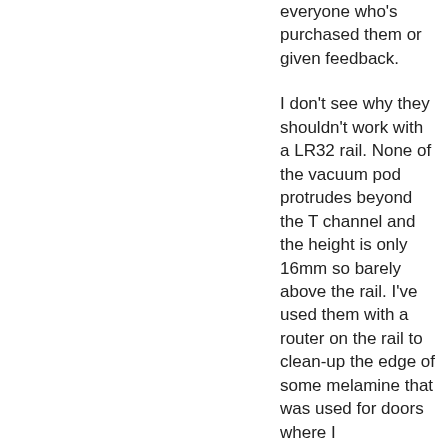everyone who's purchased them or given feedback.
I don't see why they shouldn't work with a LR32 rail. None of the vacuum pod protrudes beyond the T channel and the height is only 16mm so barely above the rail. I've used them with a router on the rail to clean-up the edge of some melamine that was used for doors where I